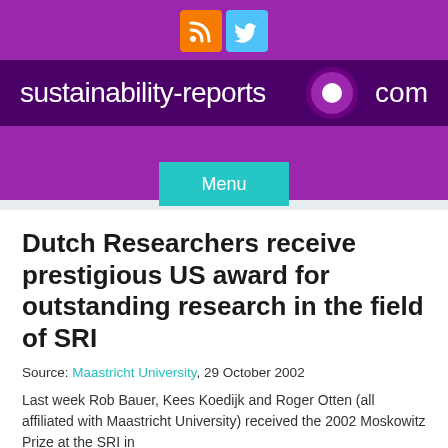[Figure (screenshot): Website header for sustainability-reports.com with purple background, orange RSS icon and blue Twitter icon, dark purple banner with site name and logo circle, and teal Menu button]
Dutch Researchers receive prestigious US award for outstanding research in the field of SRI
Source: Maastricht University, 29 October 2002
Last week Rob Bauer, Kees Koedijk and Roger Otten (all affiliated with Maastricht University) received the 2002 Moskowitz Prize at the SRI in